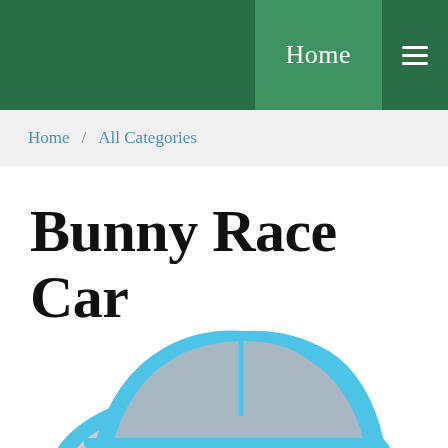Home
Home / All Categories
Bunny Race Car
[Figure (illustration): Partial illustration of a blue race car with gray windows and a white/red accent, visible from the upper portion, cropped at the bottom of the page.]